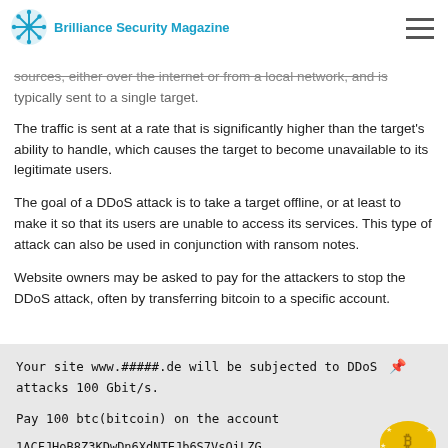Brilliance Security Magazine
The Brownis DDoS attack is a simple denial of service attack... large number of HTTP requests to a web server. The bogus traffic can be sent from one or multiple sources, either over the internet or from a local network, and is typically sent to a single target.
The traffic is sent at a rate that is significantly higher than the target's ability to handle, which causes the target to become unavailable to its legitimate users.
The goal of a DDoS attack is to take a target offline, or at least to make it so that its users are unable to access its services. This type of attack can also be used in conjunction with ransom notes.
Website owners may be asked to pay for the attackers to stop the DDoS attack, often by transferring bitcoin to a specific account.
Your site www.#####.de will be subjected to DDoS attacks 100 Gbit/s.

Pay 100 btc(bitcoin) on the account

1ACFJHoB8Z3KDwDn6XdNTEJb6S7VsQiLZG